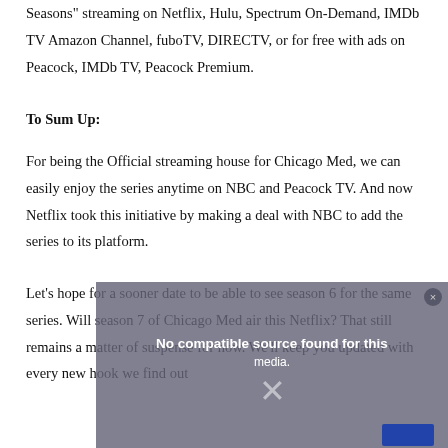Seasons" streaming on Netflix, Hulu, Spectrum On-Demand, IMDb TV Amazon Channel, fuboTV, DIRECTV, or for free with ads on Peacock, IMDb TV, Peacock Premium.
To Sum Up:
For being the Official streaming house for Chicago Med, we can easily enjoy the series anytime on NBC and Peacock TV. And now Netflix took this initiative by making a deal with NBC to add the series to its platform.
Let's hope for a sooner date to be able to see season 6 for the same series. Will season 7 of Chicago Med air this Netflix? That still remains a matter of suspense for now. We'll keep you updated with every new hook we find out
[Figure (other): A semi-transparent overlay popup showing 'No compatible source found for this media.' with a close button and a blue button, overlaid on a background image of what appears to be a cat.]